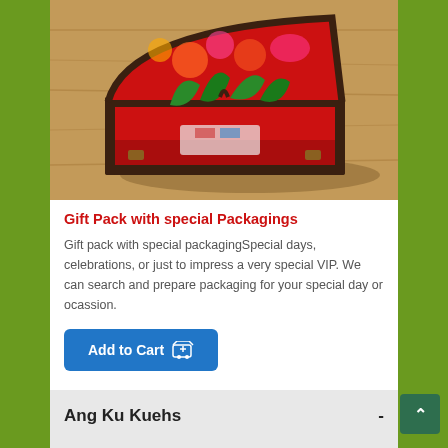[Figure (photo): An open red floral-patterned suitcase/basket with green leaves and items inside, placed on a wooden floor background.]
Gift Pack with special Packagings
Gift pack with special packagingSpecial days, celebrations, or just to impress a very special VIP. We can search and prepare packaging for your special day or ocassion.
Add to Cart
Ang Ku Kuehs -